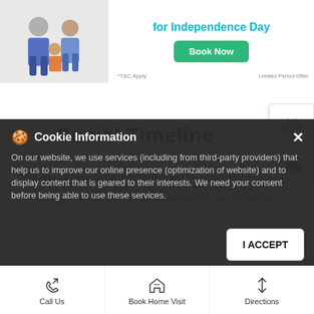[Figure (screenshot): Banner with family image and 'for Independence Day' teal heading with 'Book Now' green button. *T&C Apply and Limited Period Offer text at bottom.]
Social Timeline
[Figure (screenshot): App store icons panel on the right side: Android (green robot) and Apple (apple logo) icons stacked vertically]
< Back to Timeline
Track your health easily! Get the Metropolis App, view smart reports, chat with experts, track your sample status and much more. To download, visit- bit.ly/dWNDpdc #MetropolisHealthCareApp #MetropolisLabs #HealthCare
Cookie Information
On our website, we use services (including from third-party providers) that help us to improve our online presence (optimization of website) and to display content that is geared to their interests. We need your consent before being able to use these services.
I ACCEPT
Call Us | Book Home Visit | Directions